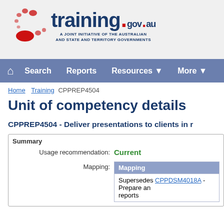[Figure (logo): training.gov.au logo with red spiral dots and dark blue text. Subtitle: A JOINT INITIATIVE OF THE AUSTRALIAN AND STATE AND TERRITORY GOVERNMENTS]
Search   Reports   Resources   More
Home > Training > CPPREP4504
Unit of competency details
CPPREP4504 - Deliver presentations to clients in r...
| Mapping |
| --- |
| Supersedes CPPDSM4018A - Prepare an... reports |
Usage recommendation: Current